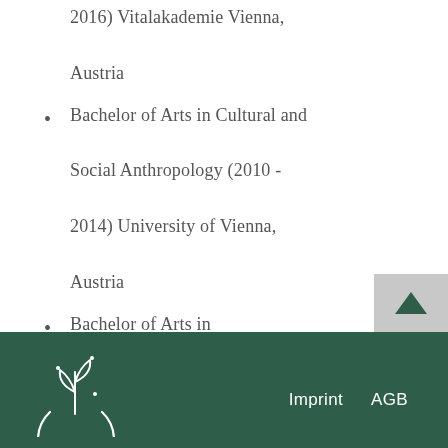2016) Vitalakademie Vienna, Austria
Bachelor of Arts in Cultural and Social Anthropology (2010 - 2014) University of Vienna, Austria
Bachelor of Arts in International Development (2009 - 2013) University of Vienna, Austria
[Figure (logo): White circular leaf/plant logo on dark green background]
Imprint   AGB